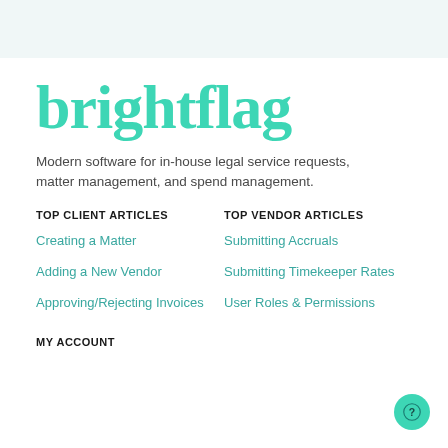[Figure (logo): Brightflag logo in teal/mint color, bold serif font]
Modern software for in-house legal service requests, matter management, and spend management.
TOP CLIENT ARTICLES
TOP VENDOR ARTICLES
Creating a Matter
Submitting Accruals
Adding a New Vendor
Submitting Timekeeper Rates
Approving/Rejecting Invoices
User Roles & Permissions
MY ACCOUNT